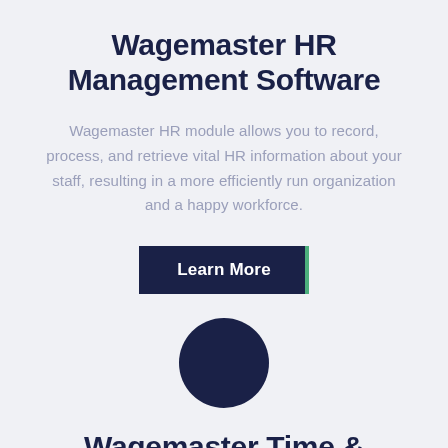Wagemaster HR Management Software
Wagemaster HR module allows you to record, process, and retrieve vital HR information about your staff, resulting in a more efficiently run organization and a happy workforce.
[Figure (other): A dark navy blue 'Learn More' button with a green right border stripe]
[Figure (other): A dark navy blue filled circle/dot used as a section divider or icon]
Wagemaster Time &